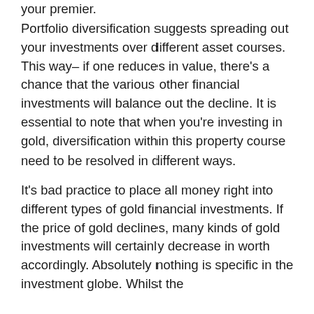your premier.
Portfolio diversification suggests spreading out your investments over different asset courses. This way– if one reduces in value, there's a chance that the various other financial investments will balance out the decline. It is essential to note that when you're investing in gold, diversification within this property course need to be resolved in different ways.
It's bad practice to place all money right into different types of gold financial investments. If the price of gold declines, many kinds of gold investments will certainly decrease in worth accordingly. Absolutely nothing is specific in the investment globe. Whilst the